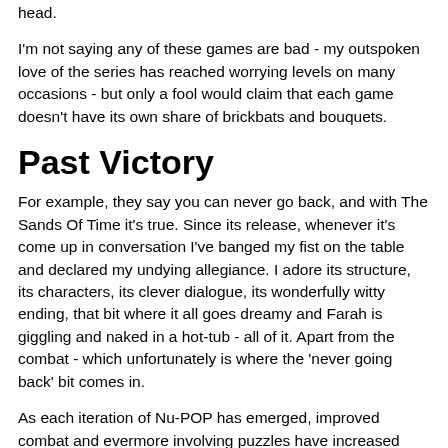head.
I'm not saying any of these games are bad - my outspoken love of the series has reached worrying levels on many occasions - but only a fool would claim that each game doesn't have its own share of brickbats and bouquets.
Past Victory
For example, they say you can never go back, and with The Sands Of Time it's true. Since its release, whenever it's come up in conversation I've banged my fist on the table and declared my undying allegiance. I adore its structure, its characters, its clever dialogue, its wonderfully witty ending, that bit where it all goes dreamy and Farah is giggling and naked in a hot-tub - all of it. Apart from the combat - which unfortunately is where the 'never going back' bit comes in.
As each iteration of Nu-POP has emerged, improved combat and evermore involving puzzles have increased alongside the Prince's testosterone levels